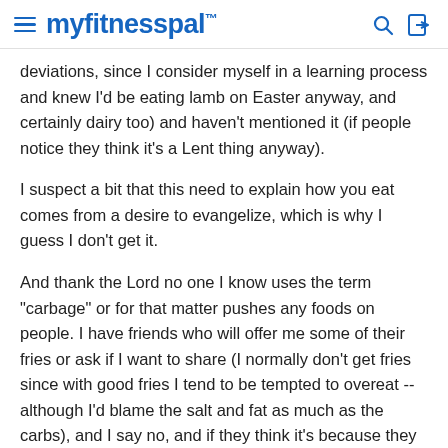myfitnesspal
deviations, since I consider myself in a learning process and knew I'd be eating lamb on Easter anyway, and certainly dairy too) and haven't mentioned it (if people notice they think it's a Lent thing anyway).
I suspect a bit that this need to explain how you eat comes from a desire to evangelize, which is why I guess I don't get it.
And thank the Lord no one I know uses the term "carbage" or for that matter pushes any foods on people. I have friends who will offer me some of their fries or ask if I want to share (I normally don't get fries since with good fries I tend to be tempted to overeat -- although I'd blame the salt and fat as much as the carbs), and I say no, and if they think it's because they were assumed to just